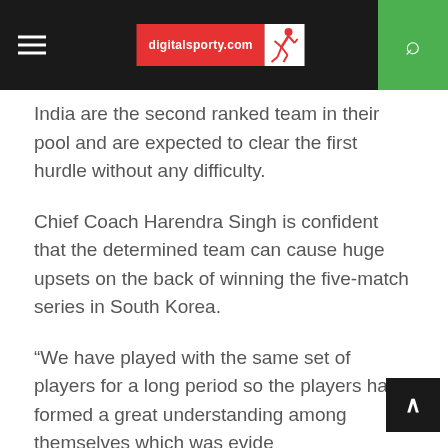digitalsporty.com
India are the second ranked team in their pool and are expected to clear the first hurdle without any difficulty.
Chief Coach Harendra Singh is confident that the determined team can cause huge upsets on the back of winning the five-match series in South Korea.
“We have played with the same set of players for a long period so the players have formed a great understanding among themselves which was evident during our 2017 Asia Cup triumph,” he said.